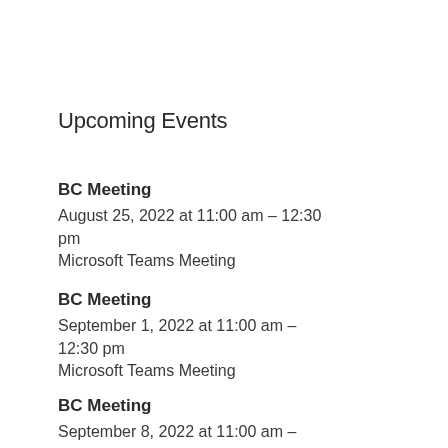Upcoming Events
BC Meeting
August 25, 2022 at 11:00 am – 12:30 pm
Microsoft Teams Meeting
BC Meeting
September 1, 2022 at 11:00 am – 12:30 pm
Microsoft Teams Meeting
BC Meeting
September 8, 2022 at 11:00 am –